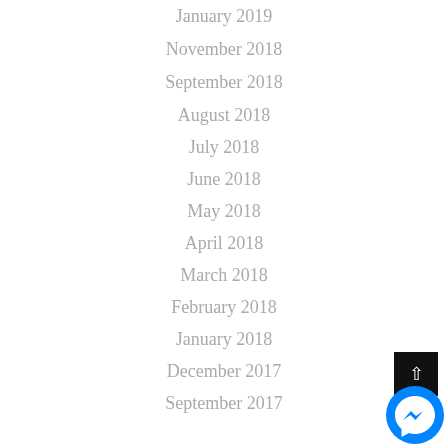January 2019
November 2018
September 2018
August 2018
July 2018
June 2018
May 2018
April 2018
March 2018
February 2018
January 2018
December 2017
September 2017
[Figure (screenshot): Black scroll-to-top button and Facebook Messenger chat bubble icon in the bottom-right corner]